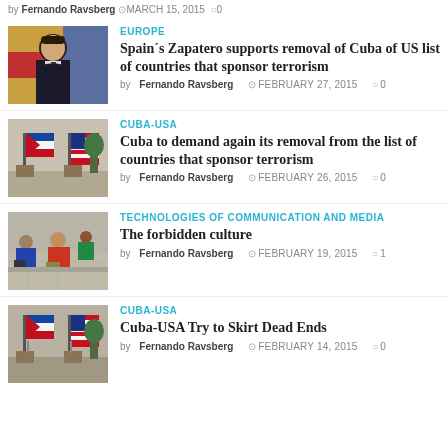by Fernando Ravsberg  MARCH 15, 2015  0
[Figure (photo): Photo of Jose Luis Rodriguez Zapatero in a suit with a flag background]
EUROPE
Spain´s Zapatero supports removal of Cuba of US list of countries that sponsor terrorism
by Fernando Ravsberg  FEBRUARY 27, 2015  0
[Figure (photo): Photo of Cuban and US flags on stands at a press conference]
CUBA-USA
Cuba to demand again its removal from the list of countries that sponsor terrorism
by Fernando Ravsberg  FEBRUARY 26, 2015  0
[Figure (photo): Photo of people sitting on a sidewalk, possibly in Cuba]
TECHNOLOGIES OF COMMUNICATION AND MEDIA
The forbidden culture
by Fernando Ravsberg  FEBRUARY 19, 2015  1
[Figure (photo): Photo of Cuban and US flags on stands at a conference room]
CUBA-USA
Cuba-USA Try to Skirt Dead Ends
by Fernando Ravsberg  FEBRUARY 14, 2015  0